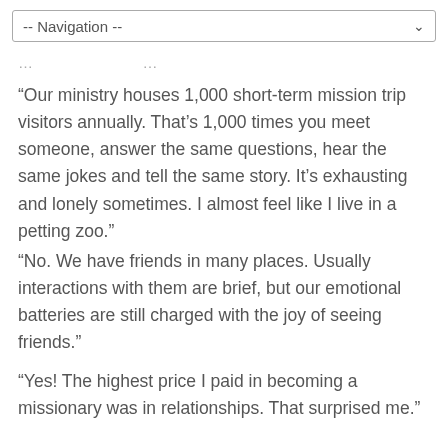-- Navigation --
“Our ministry houses 1,000 short-term mission trip visitors annually. That’s 1,000 times you meet someone, answer the same questions, hear the same jokes and tell the same story. It’s exhausting and lonely sometimes. I almost feel like I live in a petting zoo.”
“No. We have friends in many places. Usually interactions with them are brief, but our emotional batteries are still charged with the joy of seeing friends.”
“Yes! The highest price I paid in becoming a missionary was in relationships. That surprised me.”